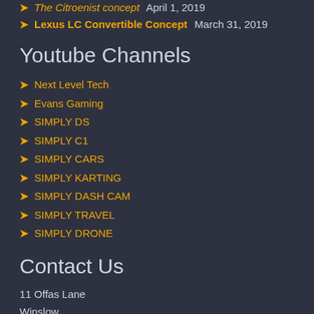The Citroenist concept April 1, 2019
Lexus LC Convertible Concept March 31, 2019
Youtube Channels
Next Level Tech
Evans Gaming
SIMPLY DS
SIMPLY C1
SIMPLY CARS
SIMPLY KARTING
SIMPLY DASH CAM
SIMPLY TRAVEL
SIMPLY DRONE
Contact Us
11 Offas Lane
Winslow
Buckinghamshire
MK18 3JS
United Kingdom